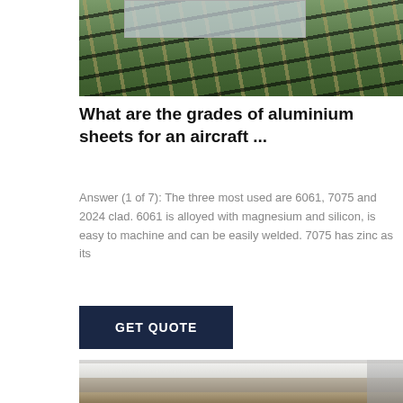[Figure (photo): Photo of aluminium sheets on a conveyor or roller system with green background and diagonal ribbed pattern]
What are the grades of aluminium sheets for an aircraft ...
Answer (1 of 7): The three most used are 6061, 7075 and 2024 clad. 6061 is alloyed with magnesium and silicon, is easy to machine and can be easily welded. 7075 has zinc as its
[Figure (other): GET QUOTE button — dark navy blue rectangular button with white uppercase text]
[Figure (photo): Photo of aluminium sheets stacked or cut, showing silver/grey metallic surface]